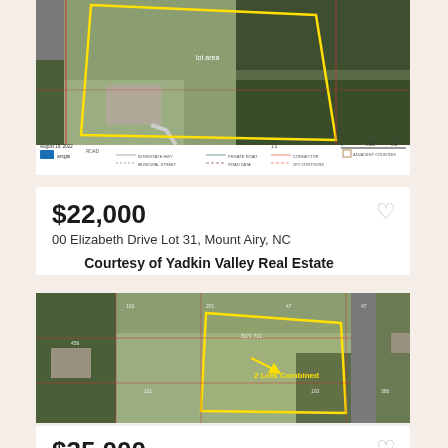[Figure (photo): Aerial/satellite map view of a residential property lot on Elizabeth Drive, Mount Airy NC, with yellow boundary lines outlining the lot and a map legend at the bottom.]
$22,000
00 Elizabeth Drive Lot 31, Mount Airy, NC
Courtesy of Yadkin Valley Real Estate
[Figure (photo): Aerial/satellite map view of two combined lots on Margaret Drive, Mount Airy NC, with yellow boundary lines and a label reading '2 Lots Combined' with an arrow.]
$35,000
00 Margaret Drive Lot 31 & Lot 32, Mount Airy,